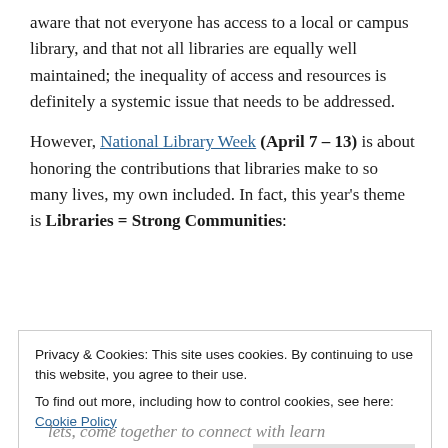aware that not everyone has access to a local or campus library, and that not all libraries are equally well maintained; the inequality of access and resources is definitely a systemic issue that needs to be addressed.
However, National Library Week (April 7 – 13) is about honoring the contributions that libraries make to so many lives, my own included. In fact, this year's theme is Libraries = Strong Communities:
today's libraries are at the heart of our cities,
towns, schools and campuses, providing critical
Privacy & Cookies: This site uses cookies. By continuing to use this website, you agree to their use. To find out more, including how to control cookies, see here: Cookie Policy
Close and accept
lets, come together to connect with learn